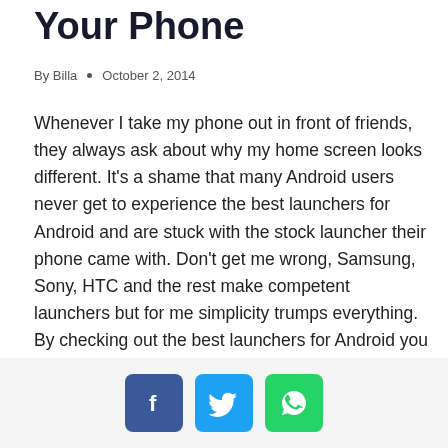Your Phone
By Billa  •  October 2, 2014
Whenever I take my phone out in front of friends, they always ask about why my home screen looks different. It's a shame that many Android users never get to experience the best launchers for Android and are stuck with the stock launcher their phone came with. Don't get me wrong, Samsung, Sony, HTC and the rest make competent launchers but for me simplicity trumps everything. By checking out the best launchers for Android you will not only be able to spice up that old interface but also make your Android experience more
[Figure (infographic): Social share buttons: Facebook (blue), Twitter (light blue), WhatsApp (green)]